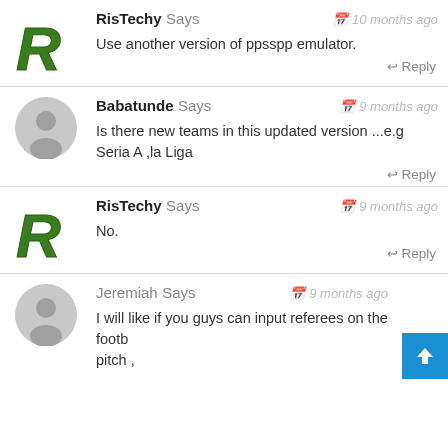RisTechy Says — 10 months ago — Use another version of ppsspp emulator. — Reply
Babatunde Says — 9 months ago — Is there new teams in this updated version ...e.g Seria A ,la Liga — Reply
RisTechy Says — 9 months ago — No. — Reply
Jeremiah Says — 9 months ago — I will like if you guys can input referees on the footb... pitch ,